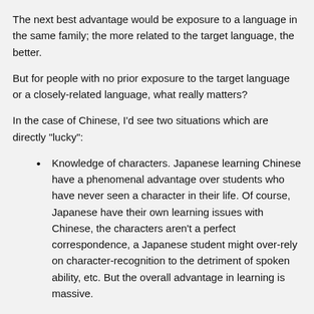The next best advantage would be exposure to a language in the same family; the more related to the target language, the better.
But for people with no prior exposure to the target language or a closely-related language, what really matters?
In the case of Chinese, I'd see two situations which are directly "lucky":
Knowledge of characters. Japanese learning Chinese have a phenomenal advantage over students who have never seen a character in their life. Of course, Japanese have their own learning issues with Chinese, the characters aren't a perfect correspondence, a Japanese student might over-rely on character-recognition to the detriment of spoken ability, etc. But the overall advantage in learning is massive.
Music ability. There's a lot of research showing that the ability to discriminate pitch variations in music facilitates the ability to perceive pitch variations in foreign languages. And